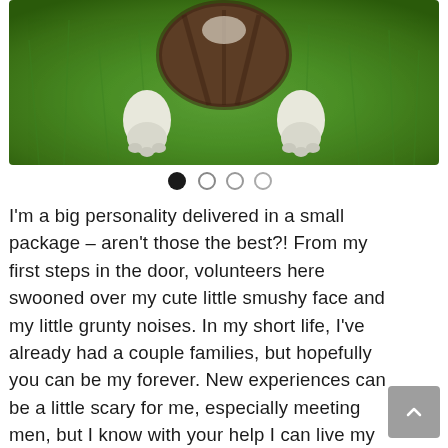[Figure (photo): Aerial view of a dog (brindle/white markings) standing on green grass, photographed from above showing the dog's back and white paws]
I'm a big personality delivered in a small package – aren't those the best?! From my first steps in the door, volunteers here swooned over my cute little smushy face and my little grunty noises. In my short life, I've already had a couple families, but hopefully you can be my forever. New experiences can be a little scary for me, especially meeting men, but I know with your help I can live my best life. Taking long walks into the sunset before snoozing on the couch is my ideal day, so let go have some fun!